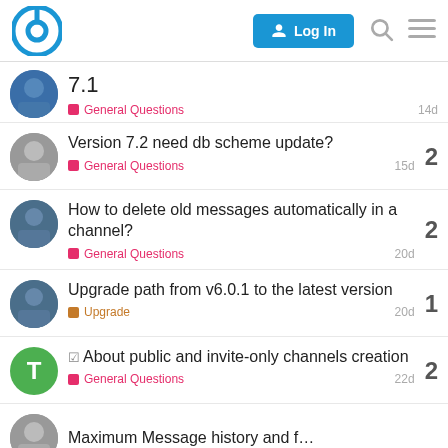Rocket.Chat Community Forum — Log In
7.1 — General Questions — 14d
Version 7.2 need db scheme update? — General Questions — 15d — 2 replies
How to delete old messages automatically in a channel? — General Questions — 20d — 2 replies
Upgrade path from v6.0.1 to the latest version — Upgrade — 20d — 1 reply
About public and invite-only channels creation — General Questions — 22d — 2 replies
Maximum Message history and f…